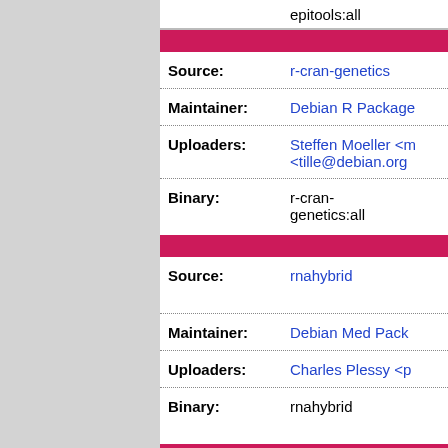| Field | Value |
| --- | --- |
|  | epitools:all |
| Source: | r-cran-genetics |
| Maintainer: | Debian R Package |
| Uploaders: | Steffen Moeller <m <tille@debian.org |
| Binary: | r-cran-genetics:all |
| Source: | rnahybrid |
| Maintainer: | Debian Med Pack |
| Uploaders: | Charles Plessy <p |
| Binary: | rnahybrid |
| Source: | samtools |
| Maintainer: | Debian Med Pack |